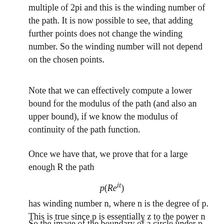multiple of 2pi and this is the winding number of the path. It is now possible to see, that adding further points does not change the winding number. So the winding number will not depend on the chosen points.
Note that we can effectively compute a lower bound for the modulus of the path (and also an upper bound), if we know the modulus of continuity of the path function.
Once we have that, we prove that for a large enough R the path
has winding number n, where n is the degree of p. This is true since p is essentially z to the power n for large z.
So the image of the boundary of a circle under p runs around 0 n times. The same is true for a large rectangle. However